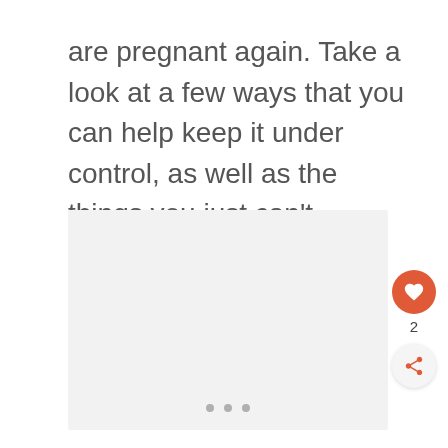are pregnant again. Take a look at a few ways that you can help keep it under control, as well as the things you just can't control.
[Figure (photo): Gray image placeholder with three dots at the bottom indicating a loading or carousel state.]